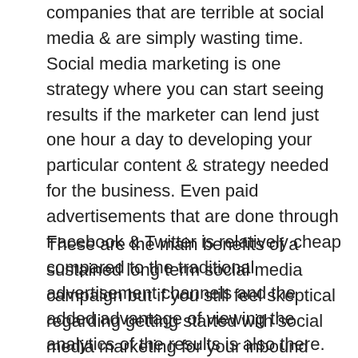companies that are terrible at social media & are simply wasting time. Social media marketing is one strategy where you can start seeing results if the marketer can lend just one hour a day to developing your particular content & strategy needed for the business. Even paid advertisements that are done through Facebook & Twitter is relatively cheap compared to the traditional advertisement channels and the added advantage of viewing the analytics of the results is also there.
These are the main benefits of a sustained long term social media campaign but if you still feel skeptical regarding getting started with social media marketing for your inbound marketing campaign remember that your competitors will be already involved on social media which means they are poaching all your potential